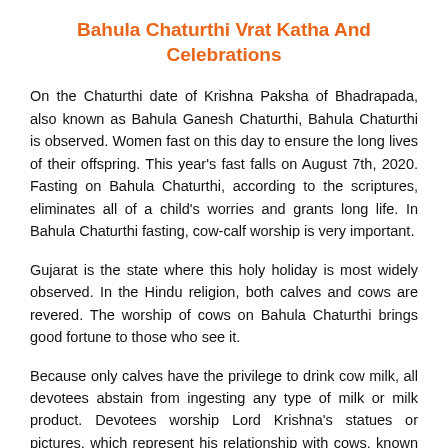Bahula Chaturthi Vrat Katha And Celebrations
On the Chaturthi date of Krishna Paksha of Bhadrapada, also known as Bahula Ganesh Chaturthi, Bahula Chaturthi is observed. Women fast on this day to ensure the long lives of their offspring. This year's fast falls on August 7th, 2020. Fasting on Bahula Chaturthi, according to the scriptures, eliminates all of a child's worries and grants long life. In Bahula Chaturthi fasting, cow-calf worship is very important.
Gujarat is the state where this holy holiday is most widely observed. In the Hindu religion, both calves and cows are revered. The worship of cows on Bahula Chaturthi brings good fortune to those who see it.
Because only calves have the privilege to drink cow milk, all devotees abstain from ingesting any type of milk or milk product. Devotees worship Lord Krishna's statues or pictures, which represent his relationship with cows, known as Suabhis. On this day, all of the agricultural community's followers get up